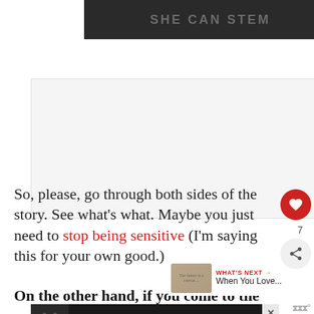[Figure (screenshot): Dark banner with text SHE CAN STEM in gray letters on dark background]
[Figure (screenshot): Advertisement placeholder area with light gray background and Weatherbug logo watermark]
So, please, go through both sides of the story. See what's what. Maybe you just need to stop being sensitive (I'm saying this for your own good.)
7
WHAT'S NEXT → When You Love...
On the other hand, if you come to the
[Figure (screenshot): Bottom advertisement banner showing a dog and text FIND THE ONE with a heart, on dark background, with close X button]